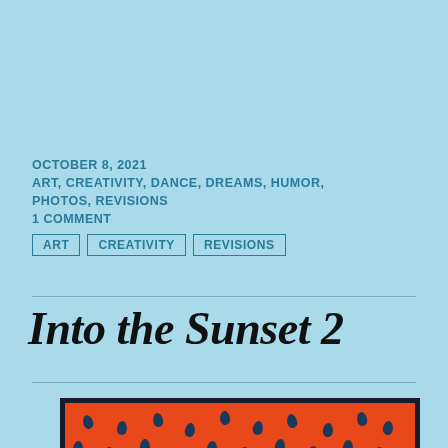OCTOBER 8, 2021
ART, CREATIVITY, DANCE, DREAMS, HUMOR, PHOTOS, REVISIONS
1 COMMENT
ART
CREATIVITY
REVISIONS
Into the Sunset 2
[Figure (photo): A framed painting or artwork with an orange-red background featuring dark blue teardrop/raindrop shapes, surrounded by a dark navy floral-patterned border.]